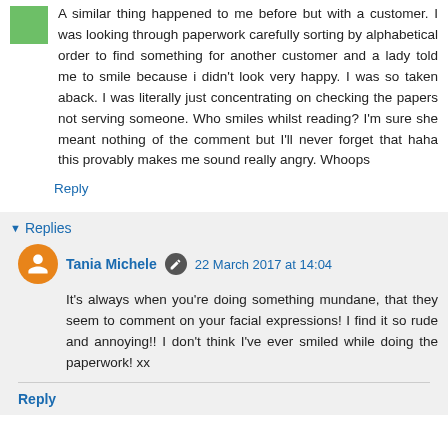A similar thing happened to me before but with a customer. I was looking through paperwork carefully sorting by alphabetical order to find something for another customer and a lady told me to smile because i didn't look very happy. I was so taken aback. I was literally just concentrating on checking the papers not serving someone. Who smiles whilst reading? I'm sure she meant nothing of the comment but I'll never forget that haha this provably makes me sound really angry. Whoops
Reply
Replies
Tania Michele  22 March 2017 at 14:04
It's always when you're doing something mundane, that they seem to comment on your facial expressions! I find it so rude and annoying!! I don't think I've ever smiled while doing the paperwork! xx
Reply